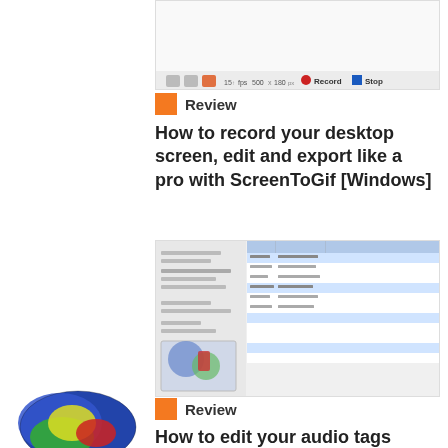[Figure (screenshot): Screenshot of ScreenToGif application toolbar with record controls showing fps, size, Record and Stop buttons]
Review
How to record your desktop screen, edit and export like a pro with ScreenToGif [Windows]
[Figure (screenshot): Screenshot of Mp3tag audio tag editor application showing a list of music files with metadata columns]
Review
How to edit your audio tags using Mp3tag [Windows]
[Figure (logo): Colorful oval/ellipse 3D logo with blue, green, red, and yellow sections, with reflection below]